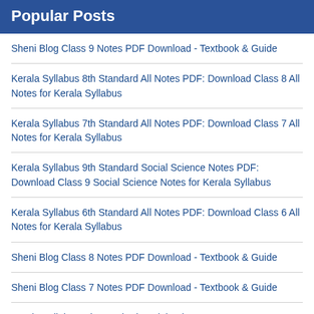Popular Posts
Sheni Blog Class 9 Notes PDF Download - Textbook & Guide
Kerala Syllabus 8th Standard All Notes PDF: Download Class 8 All Notes for Kerala Syllabus
Kerala Syllabus 7th Standard All Notes PDF: Download Class 7 All Notes for Kerala Syllabus
Kerala Syllabus 9th Standard Social Science Notes PDF: Download Class 9 Social Science Notes for Kerala Syllabus
Kerala Syllabus 6th Standard All Notes PDF: Download Class 6 All Notes for Kerala Syllabus
Sheni Blog Class 8 Notes PDF Download - Textbook & Guide
Sheni Blog Class 7 Notes PDF Download - Textbook & Guide
Kerala Syllabus 8th Standard Social Science Notes PDF: Download Class 8 Social Science Notes for Kerala Syllabus
Kerala Syllabus 9th Standard All Notes PDF: Download Class 9 All Notes for Kerala Syllabus
Kerala Syllabus 7th Standard Basic Science Notes PDF: Download Class 7 Basic Science Notes for Kerala Syllabus